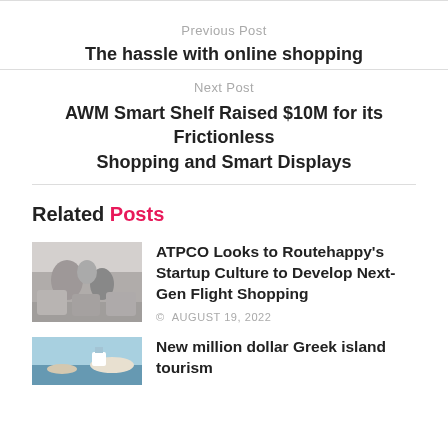Previous Post
The hassle with online shopping
Next Post
AWM Smart Shelf Raised $10M for its Frictionless Shopping and Smart Displays
Related Posts
[Figure (photo): Photo of people in an airplane cabin, flight attendant serving passengers]
ATPCO Looks to Routehappy's Startup Culture to Develop Next-Gen Flight Shopping
AUGUST 19, 2022
[Figure (photo): Photo of a Greek island scene with blue water]
New million dollar Greek island tourism